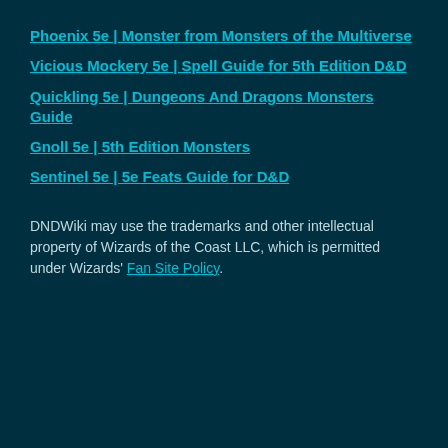Phoenix 5e | Monster from Monsters of the Multiverse
Vicious Mockery 5e | Spell Guide for 5th Edition D&D
Quickling 5e | Dungeons And Dragons Monsters Guide
Gnoll 5e | 5th Edition Monsters
Sentinel 5e | 5e Feats Guide for D&D
DNDWiki may use the trademarks and other intellectual property of Wizards of the Coast LLC, which is permitted under Wizards' Fan Site Policy.